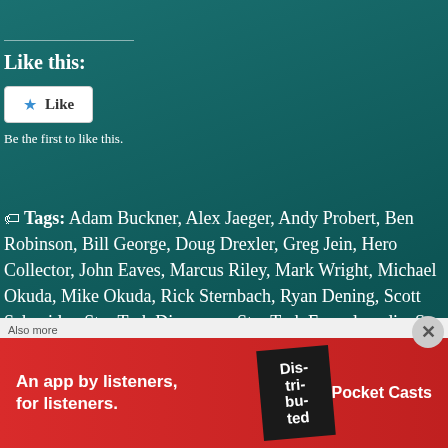Like this:
Be the first to like this.
Tags: Adam Buckner, Alex Jaeger, Andy Probert, Ben Robinson, Bill George, Doug Drexler, Greg Jein, Hero Collector, John Eaves, Marcus Riley, Mark Wright, Michael Okuda, Mike Okuda, Rick Sternbach, Ryan Dening, Scott Schneider, Star Trek Discovery, Star Trek Encyclopedia, Star Trek Shipyards, Star Trek Shipyards 2292 - The Future, Star Trek Shipyards book review, Star Trek Shipyards Starfleet Ships 2294 - Future book review, Star Trek Shipyards Starfleet Ships 2294 updated expanded, Star Trek Shipyards The Borg and Delta Quadrant, Star Trek Shipyards: The Delta Quadrant Volume 2, Star Trek: Lower Decks, Star Trek: Picard, The Art of John Eaves, The Art of Star Trek, The Art of Star Trek, The Kelvin Timeline, Terra Mainieri series
[Figure (screenshot): Pocket Casts advertisement banner: red background, text 'An app by listeners, for listeners.' with Pocket Casts logo and a phone showing 'Distributed' podcast cover]